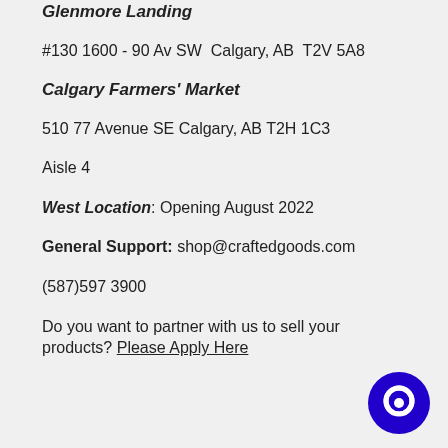Glenmore Landing
#130 1600 - 90 Av SW  Calgary, AB  T2V 5A8
Calgary Farmers' Market
510 77 Avenue SE Calgary, AB T2H 1C3
Aisle 4
West Location: Opening August 2022
General Support: shop@craftedgoods.com
(587)597 3900
Do you want to partner with us to sell your products? Please Apply Here
[Figure (illustration): Blue circular chat bubble icon in bottom right corner]